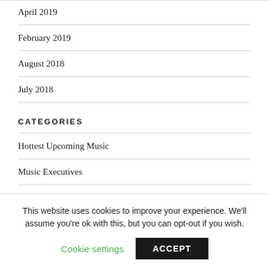April 2019
February 2019
August 2018
July 2018
CATEGORIES
Hottest Upcoming Music
Music Executives
This website uses cookies to improve your experience. We'll assume you're ok with this, but you can opt-out if you wish.
Cookie settings
ACCEPT